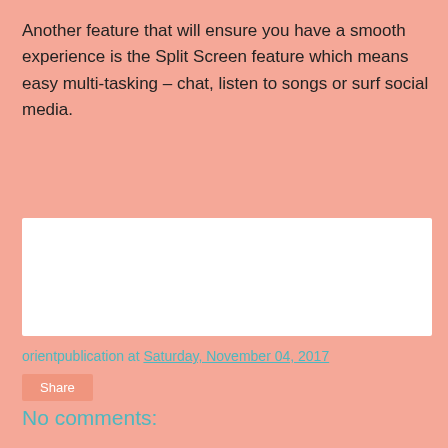Another feature that will ensure you have a smooth experience is the Split Screen feature which means easy multi-tasking – chat, listen to songs or surf social media.
[Figure (other): White rectangular box (advertisement or image placeholder)]
orientpublication at Saturday, November 04, 2017
Share
No comments:
Post a Comment
Home